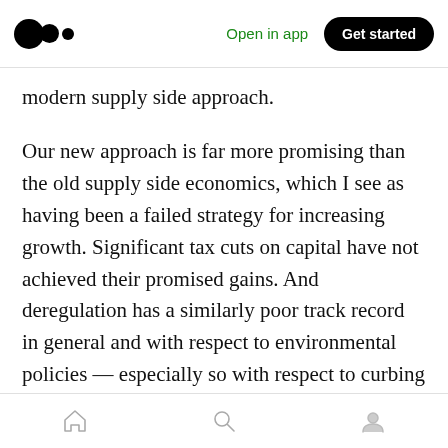Medium app header with logo, 'Open in app' link, and 'Get started' button
modern supply side approach.
Our new approach is far more promising than the old supply side economics, which I see as having been a failed strategy for increasing growth. Significant tax cuts on capital have not achieved their promised gains. And deregulation has a similarly poor track record in general and with respect to environmental policies — especially so with respect to curbing CO2 emissions.
Moreover, this approach has deepened
Bottom navigation bar with home, search, and profile icons